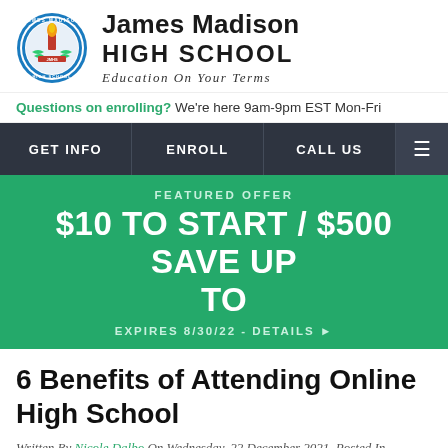[Figure (logo): James Madison High School circular seal/logo with blue border]
James Madison HIGH SCHOOL Education On Your Terms
Questions on enrolling? We're here 9am-9pm EST Mon-Fri
GET INFO   ENROLL   CALL US   ☰
FEATURED OFFER
$10 TO START / $500 SAVE UP TO
EXPIRES 8/30/22 - DETAILS ▶
6 Benefits of Attending Online High School
Written By Nicole Dalbo On Wednesday, 22 December 2021. Posted In
Helpful Tips